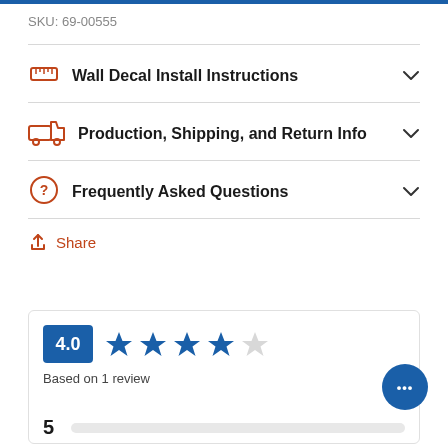SKU: 69-00555
Wall Decal Install Instructions
Production, Shipping, and Return Info
Frequently Asked Questions
Share
4.0 — Based on 1 review